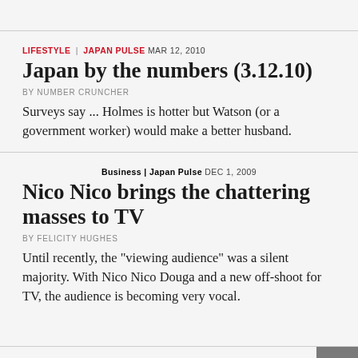LIFESTYLE | JAPAN PULSE  MAR 12, 2010
Japan by the numbers (3.12.10)
BY NUMBER CRUNCHER
Surveys say ... Holmes is hotter but Watson (or a government worker) would make a better husband.
BUSINESS | JAPAN PULSE  DEC 1, 2009
Nico Nico brings the chattering masses to TV
BY FELICITY HUGHES
Until recently, the "viewing audience" was a silent majority. With Nico Nico Douga and a new off-shoot for TV, the audience is becoming very vocal.
« 1 2 3